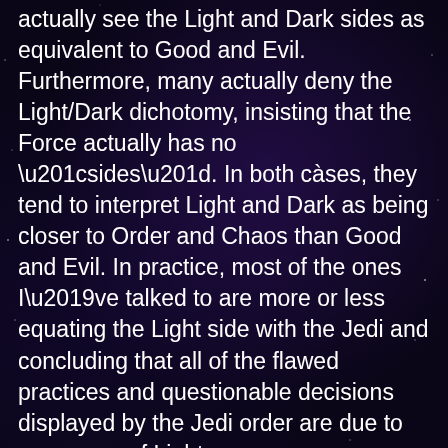actually see the Light and Dark sides as equivalent to Good and Evil. Furthermore, many actually deny the Light/Dark dichotomy, insisting that the Force actually has no “sides”. In both cases, they tend to interpret Light and Dark as being closer to Order and Chaos than Good and Evil. In practice, most of the ones I’ve talked to are more or less equating the Light side with the Jedi and concluding that all of the flawed practices and questionable decisions displayed by the Jedi order are due to an excess of Light.
3. I don’t think any of the movies ever attempt to define what is even meant by “balance”. A lot of people seem to assume that it means keeping the Light side and the Dark side in a state of equilibrium,